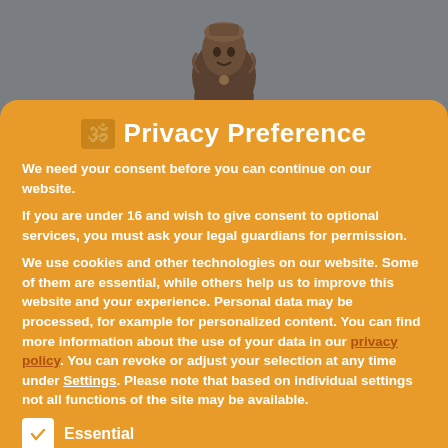[Figure (illustration): Bronze statue/sculpture head visible at the top of the page against a grey background]
🕉 Privacy Preference
We need your consent before you can continue on our website.
If you are under 16 and wish to give consent to optional services, you must ask your legal guardians for permission.
We use cookies and other technologies on our website. Some of them are essential, while others help us to improve this website and your experience. Personal data may be processed, for example for personalized content. You can find more information about the use of your data in our privacy policy. You can revoke or adjust your selection at any time under Settings. Please note that based on individual settings not all functions of the site may be available.
Essential